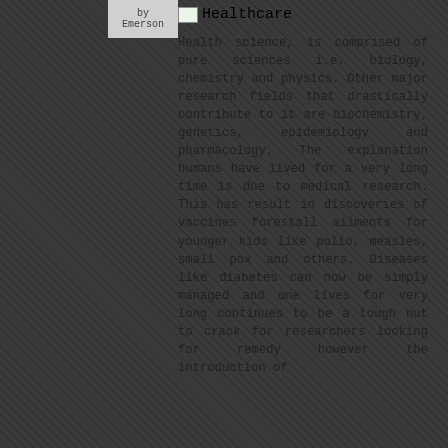by
Emerson
Healthcare
Health science, is comprised of pure sciences i.e. biology, chemistry and physics. Other major research fields that drastically contribute to it are biochemistry, genetics, epidemiology and pharmacology. The explanation humans have lived for a very long time is due to medical research. This has result in discoveries of vaccines forestall ailments for younger kids like polio, measles, small pox and others. Diseases like diabetes can now be simply managed and one lives for very long continues to be a tough nut to crack for researchers looking for remedy however the introduction of